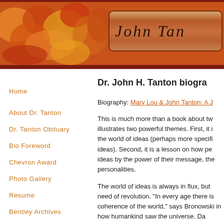[Figure (other): Website header banner with autumn foliage background in warm orange, red, and yellow tones, with a dark red border. A copper/bronze gradient name plate on the right side displays 'John Tan' (partially visible) in italic serif font.]
Home
About Dr. Tanton
Dr. Tanton Obituary
Bio Foreword
Chevron Award
Photo Gallery
Resume
Bentley Archives
Dr. John H. Tanton biogra
Biography: Mary Lou & John Tanton: A J
This is much more than a book about two illustrates two powerful themes. First, it is the world of ideas (perhaps more specifi ideas). Second, it is a lesson on how pe ideas by the power of their message, the personalities.
The world of ideas is always in flux, but need of revolution. "In every age there is coherence of the world," says Bronowski in how humankind saw the universe. Da